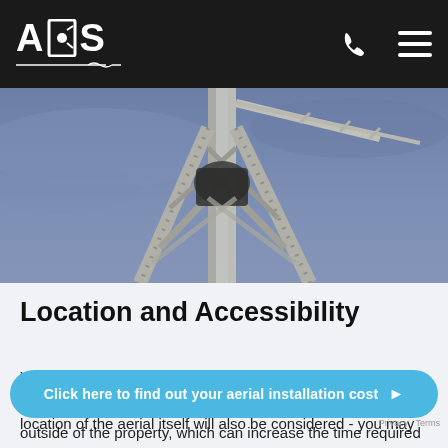ADS
[Figure (photo): Close-up photograph of a metal aerial/antenna mast tower against a blue-grey sky, taken from a low angle looking up.]
Location and Accessibility
Your location will play a part in the strength of your signal, including how easy it is for our team to access your site. The location of the aerial itself will also be considered - you may
Click here to find out your aerial installation cost
outside of the property, which can increase the time required